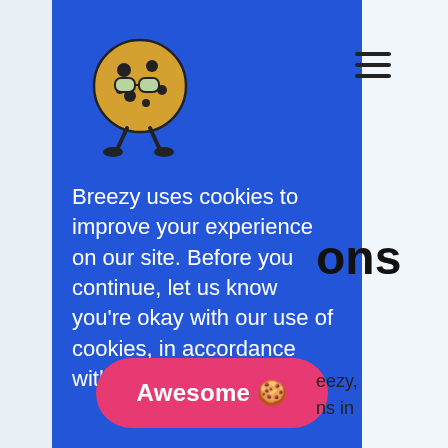[Figure (logo): Breezy cookie mascot logo: a round cookie character with glasses and legs]
[Figure (other): Hamburger menu icon (three horizontal lines)]
Breezy uses cookies to improve your experience on our site. Before you continue, let us know you're okay with our use of cookies, in accordance with our Privacy Policy.
Awesome 🍪
ons
eezy,
ns in